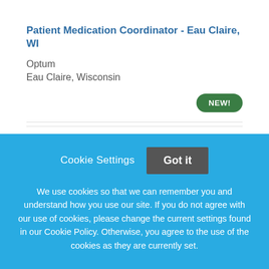Patient Medication Coordinator - Eau Claire, WI
Optum
Eau Claire, Wisconsin
[Figure (other): Green 'NEW!' badge pill-shaped button]
Cookie Settings   Got it
We use cookies so that we can remember you and understand how you use our site. If you do not agree with our use of cookies, please change the current settings found in our Cookie Policy. Otherwise, you agree to the use of the cookies as they are currently set.